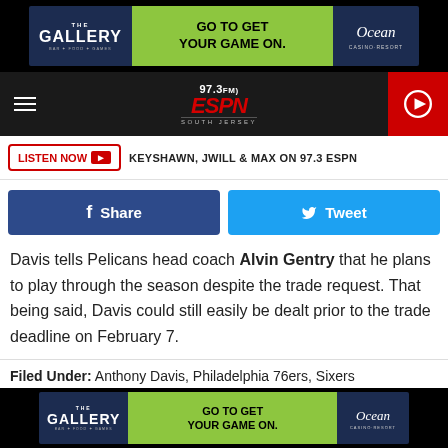[Figure (other): The Gallery bar advertisement banner - GO TO GET YOUR GAME ON. Ocean Casino Resort]
[Figure (logo): 97.3 FM ESPN South Jersey radio station logo and navigation bar with hamburger menu and play button]
LISTEN NOW ▶  KEYSHAWN, JWILL & MAX ON 97.3 ESPN
Share | Tweet social media buttons
Davis tells Pelicans head coach Alvin Gentry that he plans to play through the season despite the trade request. That being said, Davis could still easily be dealt prior to the trade deadline on February 7.
Filed Under: Anthony Davis, Philadelphia 76ers, Sixers
[Figure (other): The Gallery bar advertisement banner - GO TO GET YOUR GAME ON. Ocean Casino Resort]